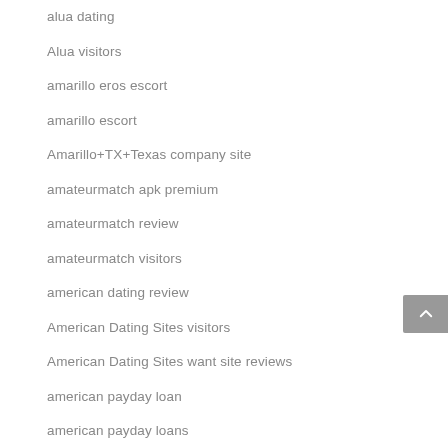alua dating
Alua visitors
amarillo eros escort
amarillo escort
Amarillo+TX+Texas company site
amateurmatch apk premium
amateurmatch review
amateurmatch visitors
american dating review
American Dating Sites visitors
American Dating Sites want site reviews
american payday loan
american payday loans
american-chat-room review
amerikanische-dating-sites bewertung